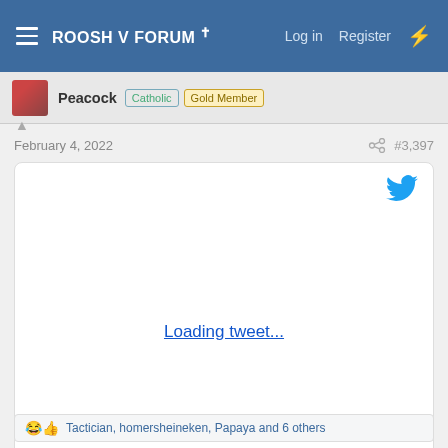ROOSH V FORUM ✝  Log in  Register
Peacock  Catholic  Gold Member
February 4, 2022  #3,397
[Figure (screenshot): Embedded tweet placeholder showing 'Loading tweet...' link with Twitter bird icon in top-right corner]
😂👍 Tactician, homersheineken, Papaya and 6 others